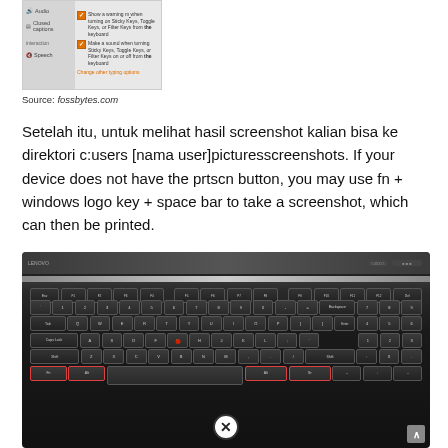[Figure (screenshot): Windows Ease of Access settings screenshot showing Audio, Closed captions, Interaction, Speech menu items on the left, and checkbox options for warning dialogs on Sticky Keys, Toggle Keys or Filter Keys on the right, with an orange link 'Change other typing options']
Source: fossbytes.com
Setelah itu, untuk melihat hasil screenshot kalian bisa ke direktori c:users [nama user]picturesscreenshots. If your device does not have the prtscn button, you may use fn + windows logo key + space bar to take a screenshot, which can then be printed.
[Figure (photo): Photo of a Lenovo laptop keyboard (ThinkPad style) with red TrackPoint pointing stick visible, and a circular X icon overlaid near the bottom center of the keyboard, with some keys highlighted in red rectangles]